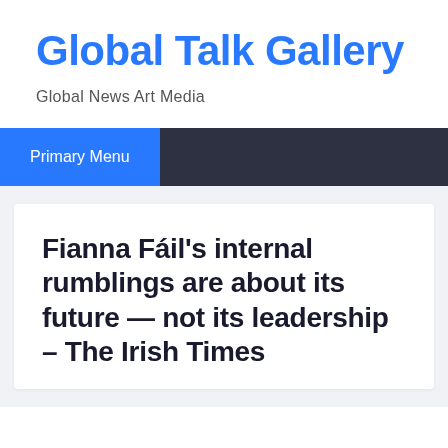Global Talk Gallery
Global News Art Media
Primary Menu
Fianna Fáil's internal rumblings are about its future — not its leadership – The Irish Times